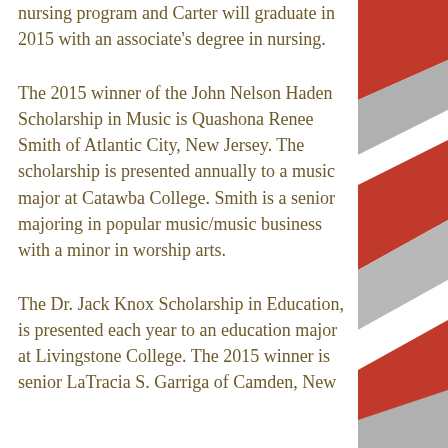nursing program and Carter will graduate in 2015 with an associate's degree in nursing.
The 2015 winner of the John Nelson Haden Scholarship in Music is Quashona Renee Smith of Atlantic City, New Jersey. The scholarship is presented annually to a music major at Catawba College. Smith is a senior majoring in popular music/music business with a minor in worship arts.
The Dr. Jack Knox Scholarship in Education, is presented each year to an education major at Livingstone College. The 2015 winner is senior LaTracia S. Garriga of Camden, New
[Figure (illustration): Decorative diagonal stripes in red, grey/silver and white on the right side of the page, resembling a flag or ribbon design.]